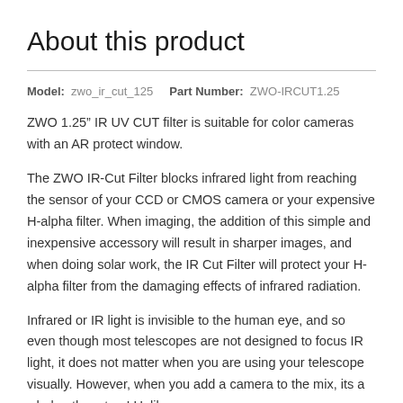About this product
Model: zwo_ir_cut_125    Part Number: ZWO-IRCUT1.25
ZWO 1.25” IR UV CUT filter is suitable for color cameras with an AR protect window.
The ZWO IR-Cut Filter blocks infrared light from reaching the sensor of your CCD or CMOS camera or your expensive H-alpha filter. When imaging, the addition of this simple and inexpensive accessory will result in sharper images, and when doing solar work, the IR Cut Filter will protect your H-alpha filter from the damaging effects of infrared radiation.
Infrared or IR light is invisible to the human eye, and so even though most telescopes are not designed to focus IR light, it does not matter when you are using your telescope visually. However, when you add a camera to the mix, its a whole other story! Unlike